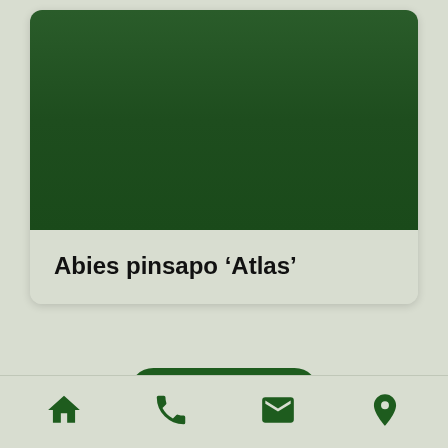[Figure (illustration): Dark green gradient rectangle representing a plant/tree image placeholder]
Abies pinsapo 'Atlas'
Bekijk alles →
Home | Phone | Email | Location icons